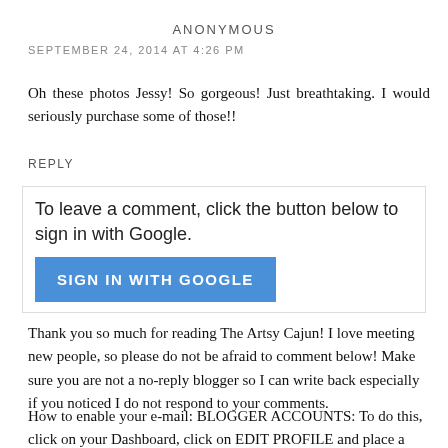ANONYMOUS
SEPTEMBER 24, 2014 AT 4:26 PM
Oh these photos Jessy! So gorgeous! Just breathtaking. I would seriously purchase some of those!!
REPLY
To leave a comment, click the button below to sign in with Google.
[Figure (other): Blue 'SIGN IN WITH GOOGLE' button]
Thank you so much for reading The Artsy Cajun! I love meeting new people, so please do not be afraid to comment below! Make sure you are not a no-reply blogger so I can write back especially if you noticed I do not respond to your comments.
How to enable your e-mail: BLOGGER ACCOUNTS: To do this, click on your Dashboard, click on EDIT PROFILE and place a check mark next to SHOW MY EMAIL ADDRESS, and finally scroll to the bottom